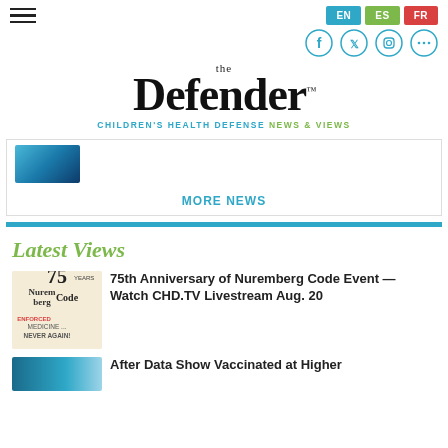EN | ES | FR
the Defender™ — CHILDREN'S HEALTH DEFENSE NEWS & VIEWS
[Figure (illustration): Blue thumbnail image (partial, cropped at top of MORE NEWS section)]
MORE NEWS
Latest Views
[Figure (illustration): 75 Years Nuremberg Code — Enforced Medicine... Never Again! circular badge image]
75th Anniversary of Nuremberg Code Event — Watch CHD.TV Livestream Aug. 20
[Figure (photo): Blue toned photo thumbnail for vaccinated article]
After Data Show Vaccinated at Higher